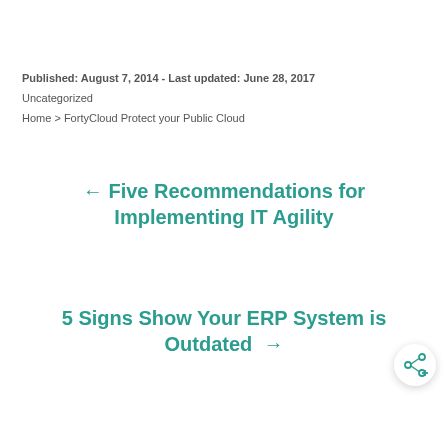Published: August 7, 2014 - Last updated: June 28, 2017
Uncategorized
Home > FortyCloud Protect your Public Cloud
← Five Recommendations for Implementing IT Agility
5 Signs Show Your ERP System is Outdated →